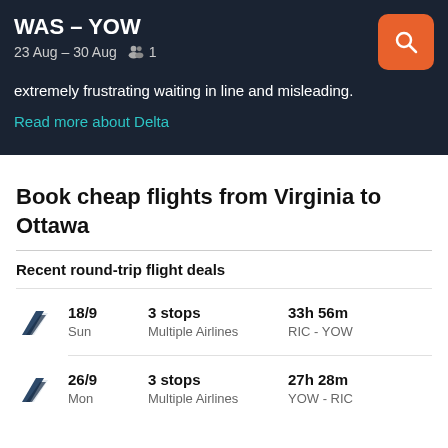WAS – YOW
23 Aug – 30 Aug  1
extremely frustrating waiting in line and misleading.
Read more about Delta
Book cheap flights from Virginia to Ottawa
Recent round-trip flight deals
18/9 Sun | 3 stops Multiple Airlines | 33h 56m RIC – YOW
26/9 Mon | 3 stops Multiple Airlines | 27h 28m YOW – RIC